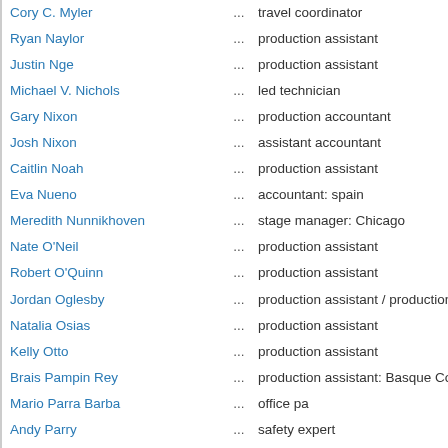Cory C. Myler ... travel coordinator
Ryan Naylor ... production assistant
Justin Nge ... production assistant
Michael V. Nichols ... led technician
Gary Nixon ... production accountant
Josh Nixon ... assistant accountant
Caitlin Noah ... production assistant
Eva Nueno ... accountant: spain
Meredith Nunnikhoven ... stage manager: Chicago
Nate O'Neil ... production assistant
Robert O'Quinn ... production assistant
Jordan Oglesby ... production assistant / production assist...
Natalia Osias ... production assistant
Kelly Otto ... production assistant
Brais Pampin Rey ... production assistant: Basque Country U...
Mario Parra Barba ... office pa
Andy Parry ... safety expert
Lacey Darlene Paulson ... assistant to production executive
Sarah Perry ... movement coach
Rick Peters ... production assistant
Dan Pitt ... production assistant
Santiago Placer ... location marshal
Alexander Pont ... production assistant (as Alex Pont)
Mar Pozo Lara ... assistant production coordinator: Spain